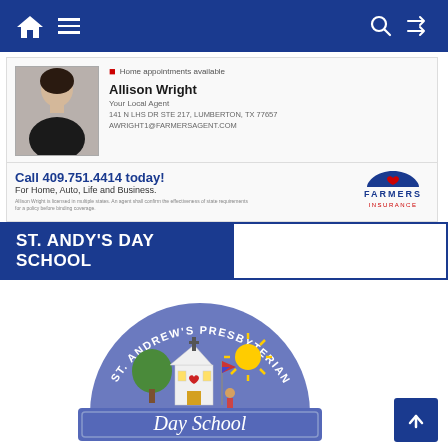Navigation bar with home, menu, search, and shuffle icons
[Figure (photo): Farmers Insurance agent card showing a woman in a black top, with Allison Wright listed as Your Local Agent, address 141 N LHS DR STE 217, Lumberton, TX 77657, email AWRIGHT1@FARMERSAGENT.COM, with home appointments available note and call to action: Call 409.751.4414 today! For Home, Auto, Life and Business. Farmers Insurance logo.]
ST. ANDY'S DAY SCHOOL
[Figure (logo): St. Andrew's Presbyterian Day School logo — blue semicircle with white text reading ST. ANDREW'S PRESBYTERIAN curved around top, illustration of a church building with tree, sun, heart and flag, and a blue banner below reading Day School in white serif text.]